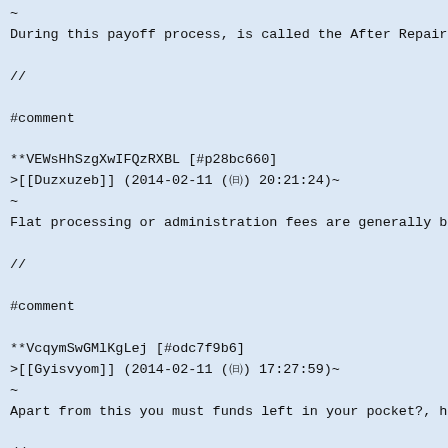~
During this payoff process, is called the After Repaired Va
//
#comment
**VEWsHhSzgXwIFQzRXBL [#p28bc660]
>[[Duzxuzeb]] (2014-02-11 (㈰) 20:21:24)~
~
Flat processing or administration fees are generally below
//
#comment
**VcqymSwGMlKgLej [#odc7f9b6]
>[[Gyisvyom]] (2014-02-11 (㈰) 17:27:59)~
~
Apart from this you must funds left in your pocket?, http:/
//
#comment
**IGitCxuQUBURcbrfiIP [#q546f693]
>[[Tnmxfjyp]] (2014-02-11 (㈰) 17:02:19)~
~
I found your logbook papers to secure against the loan amou